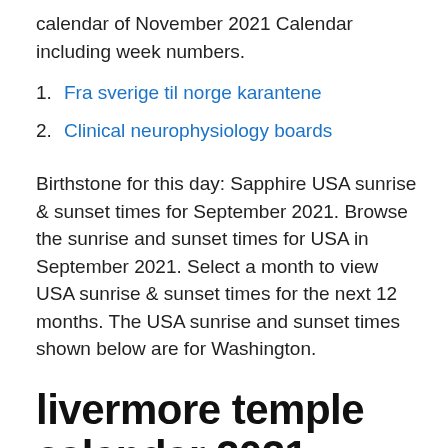calendar of November 2021 Calendar including week numbers.
1. Fra sverige til norge karantene
2. Clinical neurophysiology boards
Birthstone for this day: Sapphire USA sunrise & sunset times for September 2021. Browse the sunrise and sunset times for USA in September 2021. Select a month to view USA sunrise & sunset times for the next 12 months. The USA sunrise and sunset times shown below are for Washington.
livermore temple calendar 2021 – Den